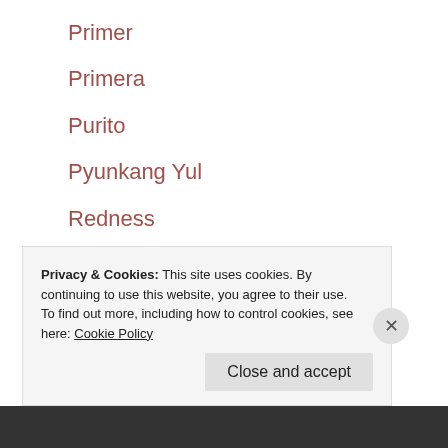Primer
Primera
Purito
Pyunkang Yul
Redness
retinol
Revolution Skincare
Rovectin
Secret Key
Privacy & Cookies: This site uses cookies. By continuing to use this website, you agree to their use.
To find out more, including how to control cookies, see here: Cookie Policy